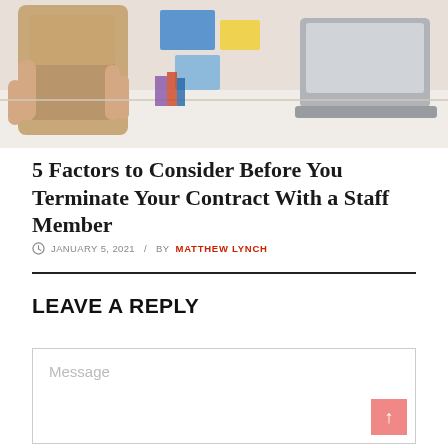[Figure (photo): Photo of a hand holding a brown/cardboard folder or envelope, with a laptop and desk items in the background]
5 Factors to Consider Before You Terminate Your Contract With a Staff Member
JANUARY 5, 2021  /  BY MATTHEW LYNCH
LEAVE A REPLY
Message